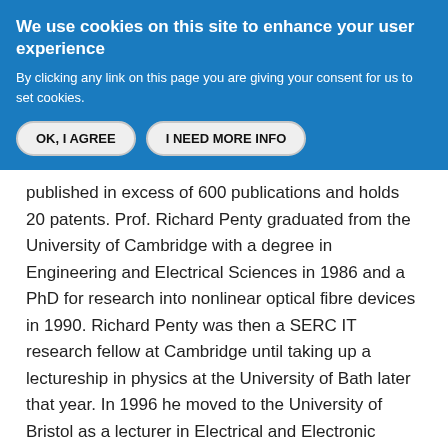We use cookies on this site to enhance your user experience
By clicking any link on this page you are giving your consent for us to set cookies.
OK, I AGREE
I NEED MORE INFO
published in excess of 600 publications and holds 20 patents. Prof. Richard Penty graduated from the University of Cambridge with a degree in Engineering and Electrical Sciences in 1986 and a PhD for research into nonlinear optical fibre devices in 1990. Richard Penty was then a SERC IT research fellow at Cambridge until taking up a lectureship in physics at the University of Bath later that year. In 1996 he moved to the University of Bristol as a lecturer in Electrical and Electronic Engineering, subsequently being promoted to a professorship. His current research is in radio over fibre systems, optically switched networks, and